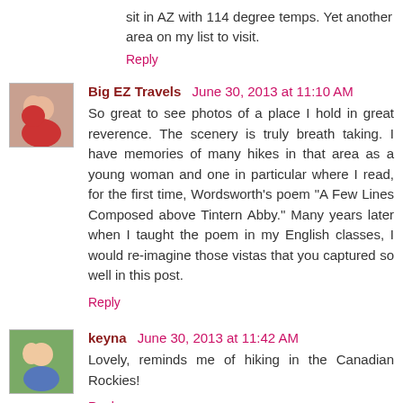sit in AZ with 114 degree temps. Yet another area on my list to visit.
Reply
[Figure (photo): Avatar photo of Big EZ Travels - couple in red shirts]
Big EZ Travels  June 30, 2013 at 11:10 AM
So great to see photos of a place I hold in great reverence. The scenery is truly breath taking. I have memories of many hikes in that area as a young woman and one in particular where I read, for the first time, Wordsworth's poem "A Few Lines Composed above Tintern Abby." Many years later when I taught the poem in my English classes, I would re-imagine those vistas that you captured so well in this post.
Reply
[Figure (photo): Avatar photo of keyna - person outdoors]
keyna  June 30, 2013 at 11:42 AM
Lovely, reminds me of hiking in the Canadian Rockies!
Reply